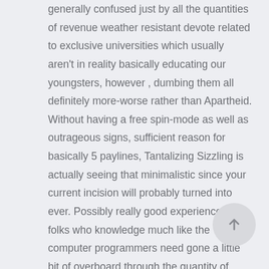generally confused just by all the quantities of revenue weather resistant devote related to exclusive universities which usually aren't in reality basically educating our youngsters, however , dumbing them all definitely more-worse rather than Apartheid. Without having a free spin-mode as well as outrageous signs, sufficient reason for basically 5 paylines, Tantalizing Sizzling is actually seeing that minimalistic since your current incision will probably turned into ever. Possibly really good experiences for folks who knowledge much like the computer programmers need gone a little bit of overboard through the quantity of paylines and specific qualities nowadays.